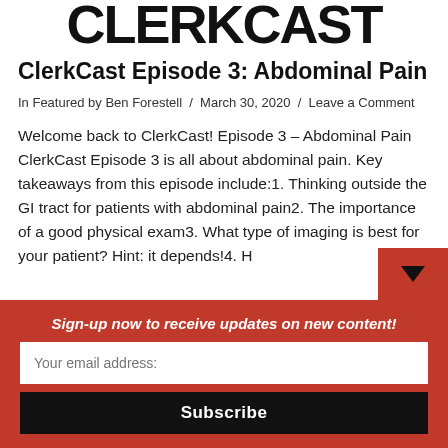[Figure (logo): ClerkCast logo — large bold black letters cropped at top of page]
ClerkCast Episode 3: Abdominal Pain
In Featured by Ben Forestell / March 30, 2020 / Leave a Comment
Welcome back to ClerkCast! Episode 3 – Abdominal Pain ClerkCast Episode 3 is all about abdominal pain. Key takeaways from this episode include:1. Thinking outside the GI tract for patients with abdominal pain2. The importance of a good physical exam3. What type of imaging is best for your patient? Hint: it depends!4. H
Sign-up now to receive updates on new content!
Your email address:
Subscribe